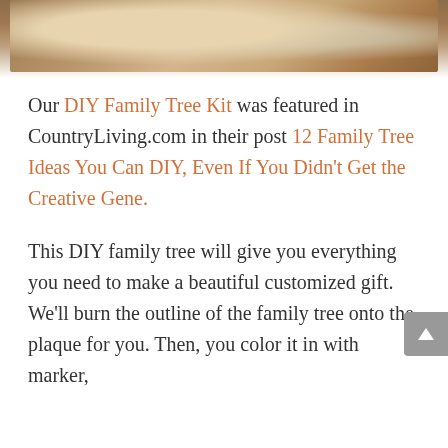[Figure (photo): Partial photo at top showing a wooden surface with craft supplies including a pink-lidded container and markers/pens]
Our DIY Family Tree Kit was featured in CountryLiving.com in their post 12 Family Tree Ideas You Can DIY, Even If You Didn't Get the Creative Gene.
This DIY family tree will give you everything you need to make a beautiful customized gift. We'll burn the outline of the family tree onto the plaque for you. Then, you color it in with marker,